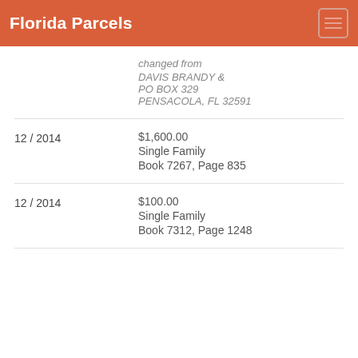Florida Parcels
changed from
DAVIS BRANDY &
PO BOX 329
PENSACOLA, FL 32591
12 / 2014
$1,600.00
Single Family
Book 7267, Page 835
12 / 2014
$100.00
Single Family
Book 7312, Page 1248